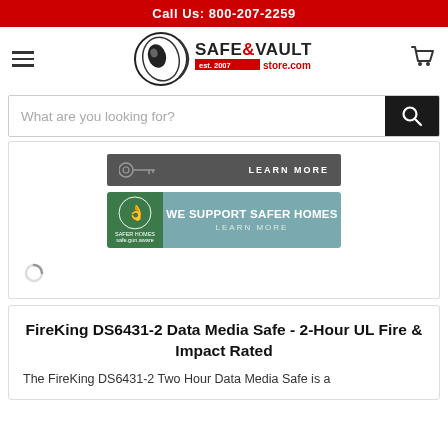Call Us: 800-207-2259
[Figure (logo): Safe & Vault Store.com logo with circular eye/dial graphic, est. 2007]
What are you looking for?
[Figure (infographic): Dark gray banner with key icon and LEARN MORE text]
[Figure (infographic): Teal banner: WE SUPPORT SAFER HOMES - LEARN MORE, with green Safer Homes logo on left]
FireKing DS6431-2 Data Media Safe - 2-Hour UL Fire & Impact Rated
The FireKing DS6431-2 Two Hour Data Media Safe is a